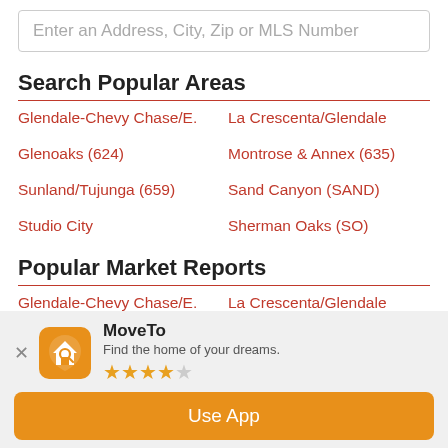Enter an Address, City, Zip or MLS Number
Search Popular Areas
Glendale-Chevy Chase/E.
La Crescenta/Glendale
Glenoaks (624)
Montrose & Annex (635)
Sunland/Tujunga (659)
Sand Canyon (SAND)
Studio City
Sherman Oaks (SO)
Popular Market Reports
Glendale-Chevy Chase/E.
La Crescenta/Glendale
Glenoaks (624)
Montrose & Annex (635)
MoveTo
Find the home of your dreams.
★★★★☆
Use App